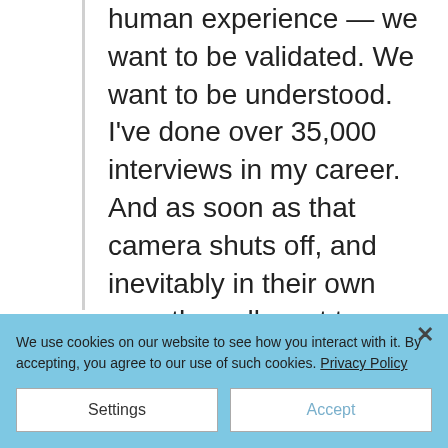human experience — we want to be validated. We want to be understood. I've done over 35,000 interviews in my career. And as soon as that camera shuts off, and inevitably in their own way, they all want to know: 'was that okay? Did you hear me? Did you see me? Did what I said mean anything to you?'"
We use cookies on our website to see how you interact with it. By accepting, you agree to our use of such cookies. Privacy Policy